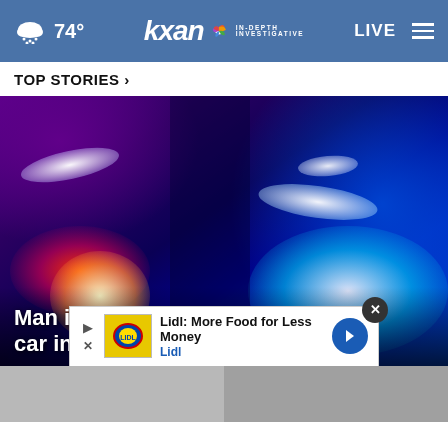74° kxan IN-DEPTH INVESTIGATIVE LIVE
TOP STORIES ›
[Figure (photo): Blurred police car lights in red and blue against dark background]
Man in hospital after being hit by car in Oak Hill
Lidl: More Food for Less Money Lidl